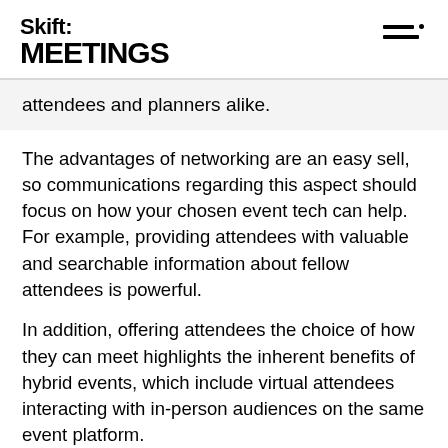Skift MEETINGS
attendees and planners alike.
The advantages of networking are an easy sell, so communications regarding this aspect should focus on how your chosen event tech can help. For example, providing attendees with valuable and searchable information about fellow attendees is powerful.
In addition, offering attendees the choice of how they can meet highlights the inherent benefits of hybrid events, which include virtual attendees interacting with in-person audiences on the same event platform.